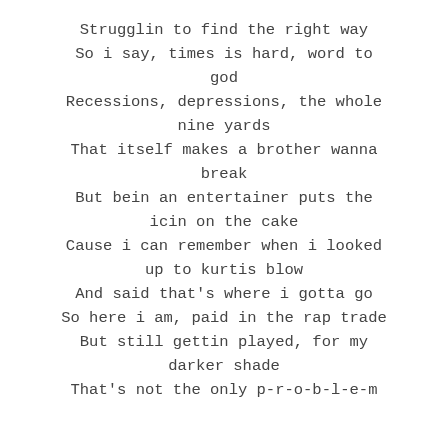Strugglin to find the right way
So i say, times is hard, word to god
Recessions, depressions, the whole nine yards
That itself makes a brother wanna break
But bein an entertainer puts the icin on the cake
Cause i can remember when i looked up to kurtis blow
And said that's where i gotta go
So here i am, paid in the rap trade
But still gettin played, for my darker shade
That's not the only p-r-o-b-l-e-m